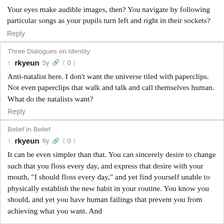Your eyes make audible images, then? You navigate by following particular songs as your pupils turn left and right in their sockets?
Reply
Three Dialogues on Identity
rkyeun 5y 0
Anti-natalist here. I don't want the universe tiled with paperclips. Not even paperclips that walk and talk and call themselves human. What do the natalists want?
Reply
Belief in Belief
rkyeun 6y 0
It can be even simpler than that. You can sincerely desire to change such that you floss every day, and express that desire with your mouth, "I should floss every day," and yet find yourself unable to physically establish the new habit in your routine. You know you should, and yet you have human failings that prevent you from achieving what you want. And